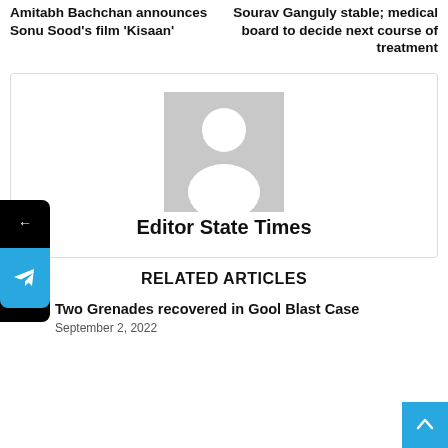Amitabh Bachchan announces Sonu Sood's film 'Kisaan'
Sourav Ganguly stable; medical board to decide next course of treatment
[Figure (illustration): Generic avatar placeholder showing silhouette of a person with grey background]
Editor State Times
RELATED ARTICLES
Two Grenades recovered in Gool Blast Case
September 2, 2022